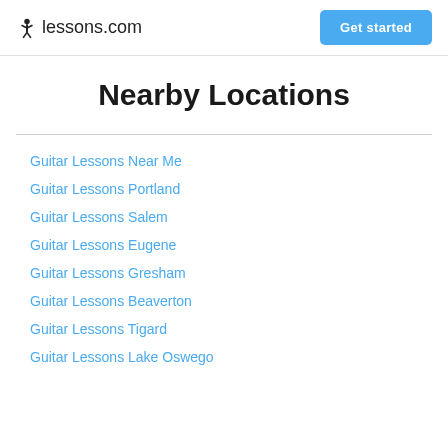lessons.com | Get started
Nearby Locations
Guitar Lessons Near Me
Guitar Lessons Portland
Guitar Lessons Salem
Guitar Lessons Eugene
Guitar Lessons Gresham
Guitar Lessons Beaverton
Guitar Lessons Tigard
Guitar Lessons Lake Oswego